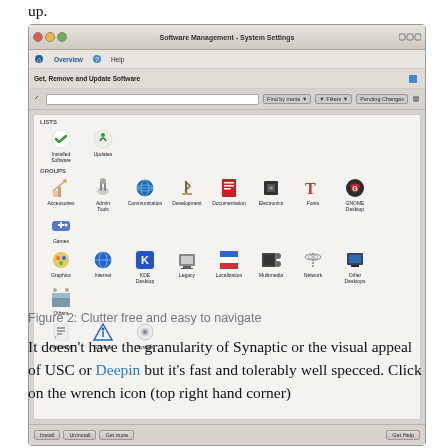up.
[Figure (screenshot): Screenshot of Software Management - System Settings application showing a KDE/Linux software manager with categories including Installed Software, Updates, and groups like Accessories, Admin Tools, Communication, Development, Documentation, Electronics, Fonts, GNOME Desktop, Games, Graphics, Internet, KDE Desktop, Legacy, Localization, Multimedia, Network, Other Desktops, Others, Publishing, Science, System.]
Figure 2: Clutter free and easy to navigate
It doesn't have the granularity of Synaptic or the visual appeal of USC or Deepin but it's fast and tolerably well specced. Click on the wrench icon (top right hand corner)